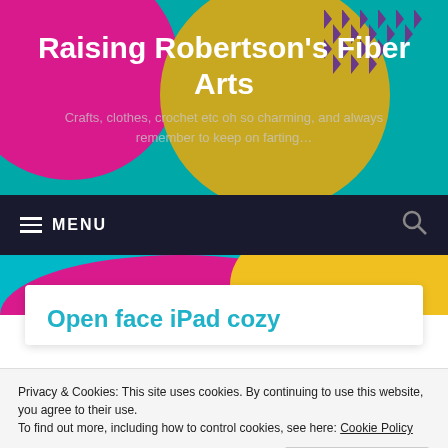Raising Robertson’s Fiber Arts
Crafts, clothes, crochet etc oh so charming, and always remember to keep on farting…
≡ MENU
Open face iPad cozy
Privacy & Cookies: This site uses cookies. By continuing to use this website, you agree to their use.
To find out more, including how to control cookies, see here: Cookie Policy
Close and accept